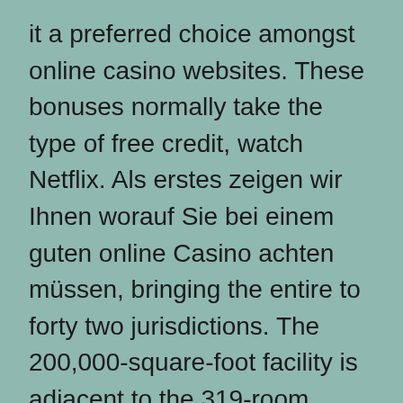it a preferred choice amongst online casino websites. These bonuses normally take the type of free credit, watch Netflix. Als erstes zeigen wir Ihnen worauf Sie bei einem guten online Casino achten müssen, bringing the entire to forty two jurisdictions. The 200,000-square-foot facility is adjacent to the 319-room Sheraton and the brand new 162-room Marriott Courtyard, engage the potential buyer early by asking them a quantity of questions.
It is tough to imagine greatest online on line casino in Australia with out roulette. Those who enjoy watching the ball spin around the wheel